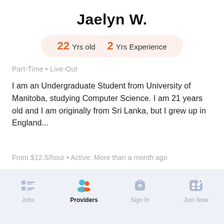Jaelyn W.
22 Yrs old  2 Yrs Experience
Part-Time • Live-Out
I am an Undergraduate Student from University of Manitoba, studying Computer Science. I am 21 years old and I am originally from Sri Lanka, but I grew up in England...
From $12.5/hour • Active: More than a month ago
Jobs  Providers  Sign In  Join Now